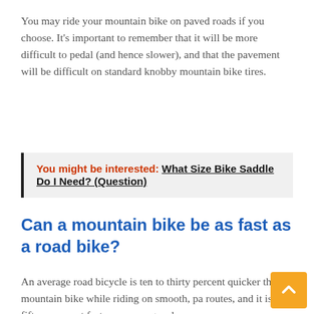You may ride your mountain bike on paved roads if you choose. It's important to remember that it will be more difficult to pedal (and hence slower), and that the pavement will be difficult on standard knobby mountain bike tires.
You might be interested: What Size Bike Saddle Do I Need? (Question)
Can a mountain bike be as fast as a road bike?
An average road bicycle is ten to thirty percent quicker than a mountain bike while riding on smooth, pa routes, and it is fifteen percent faster on average when